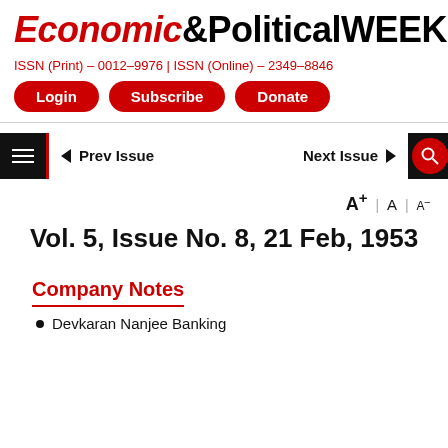Economic&PoliticalWEEKLY
ISSN (Print) - 0012-9976 | ISSN (Online) - 2349-8846
Login | Subscribe | Donate
< Prev Issue   Next Issue >
A+ | A | A-
Vol. 5, Issue No. 8, 21 Feb, 1953
Company Notes
Devkaran Nanjee Banking